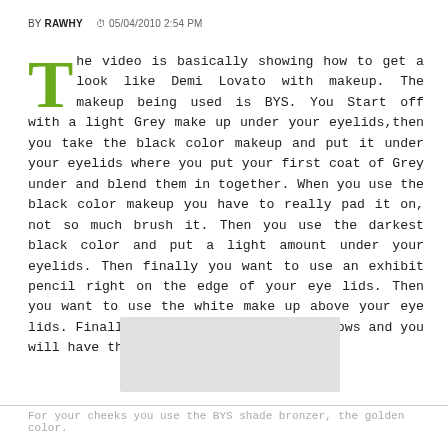BY RAWHY  05/04/2010 2:54 PM
The video is basically showing how to get a look like Demi Lovato with makeup. The makeup being used is BYS. You Start off with a light Grey make up under your eyelids,then you take the black color makeup and put it under your eyelids where you put your first coat of Grey under and blend them in together. When you use the black color makeup you have to really pad it on, not so much brush it. Then you use the darkest black color and put a light amount under your eyelids. Then finally you want to use an exhibit pencil right on the edge of your eye lids. Then you want to use the white make up above your eye lids. Finally use mascara on your eyebrows and you will have that Demi Lovato look.
[Figure (other): Grey placeholder rectangle]
For your cheeks you use the BYS shade bronzer, the golden color.